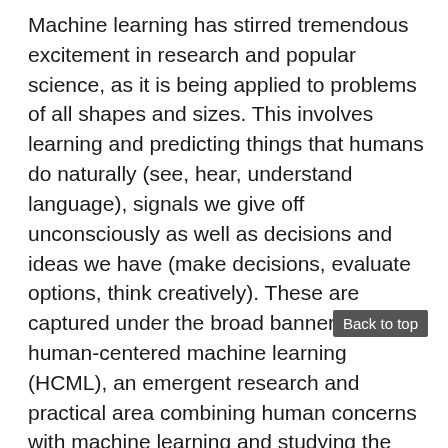Machine learning has stirred tremendous excitement in research and popular science, as it is being applied to problems of all shapes and sizes. This involves learning and predicting things that humans do naturally (see, hear, understand language), signals we give off unconsciously as well as decisions and ideas we have (make decisions, evaluate options, think creatively). These are captured under the broad banner of human-centered machine learning (HCML), an emergent research and practical area combining human concerns with machine learning and studying the impacts of systems in the world. These concerns include fairness, accountability, interactivity, and social impact of ML, among others.
In this class, we will study what human-centered machine learning is, how this idea is built and applied in